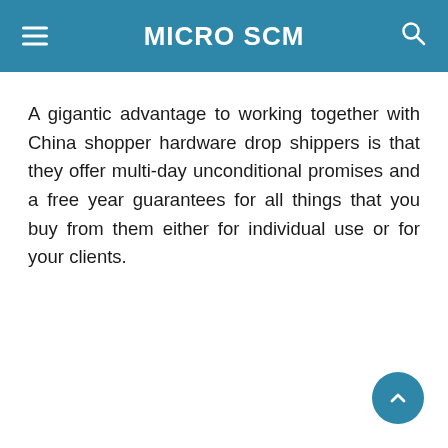MICRO SCM
A gigantic advantage to working together with China shopper hardware drop shippers is that they offer multi-day unconditional promises and a free year guarantees for all things that you buy from them either for individual use or for your clients.